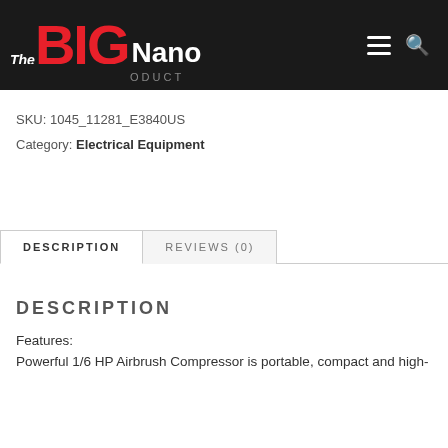The BIG Nano — navigation bar with hamburger menu and search icon
SKU: 1045_11281_E3840US
Category: Electrical Equipment
DESCRIPTION | REVIEWS (0)
DESCRIPTION
Features:
Powerful 1/6 HP Airbrush Compressor is portable, compact and high-